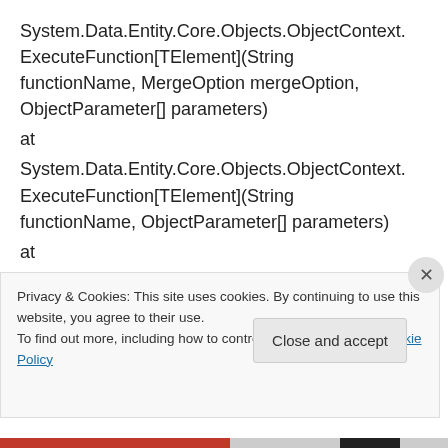System.Data.Entity.Core.Objects.ObjectContext.ExecuteFunction[TElement](String functionName, MergeOption mergeOption, ObjectParameter[] parameters)
at
System.Data.Entity.Core.Objects.ObjectContext.ExecuteFunction[TElement](String functionName, ObjectParameter[] parameters)
at
EI.K1Tracker.Data.K1TrackerContext.ExecuteQuery(String functionName, Int32 memberId) in
Privacy & Cookies: This site uses cookies. By continuing to use this website, you agree to their use.
To find out more, including how to control cookies, see here: Cookie Policy